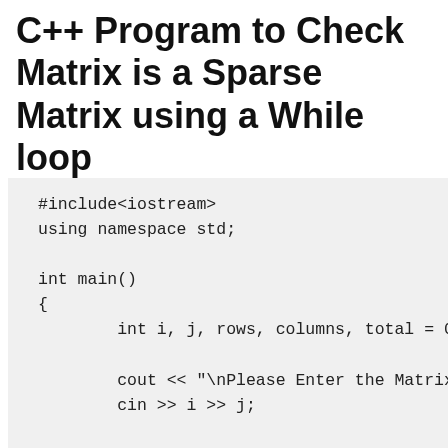C++ Program to Check Matrix is a Sparse Matrix using a While loop
[Figure (screenshot): C++ code block showing: #include<iostream>, using namespace std;, int main(), {, int i, j, rows, columns, total = 0;, cout << "\nPlease Enter the Matrix ro", cin >> i >> j;, int sparseMat[i][j];, cout << "\nPlease Enter the Sparse M, for(rows = 0; rows < i; rows++), {]